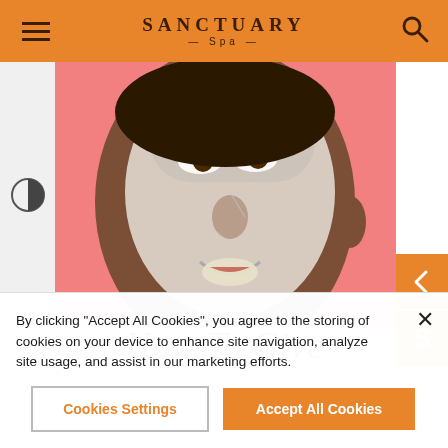Sanctuary Spa
[Figure (photo): Woman with white face mask on pink background, smiling, looking up]
How To Give
By clicking "Accept All Cookies", you agree to the storing of cookies on your device to enhance site navigation, analyze site usage, and assist in our marketing efforts.